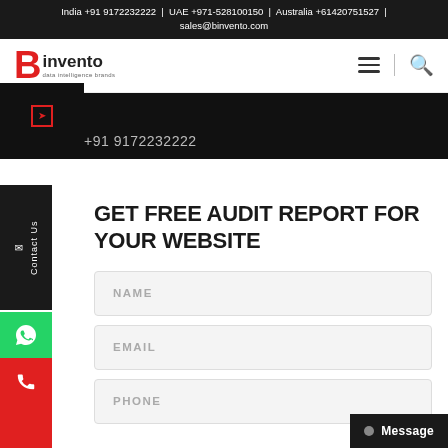India +91 9172232222  |  UAE +971-528100150  |  Australia +61420751527  |  sales@binvento.com
[Figure (logo): Binvento company logo with red B letter and company name]
+91 9172232222
GET FREE AUDIT REPORT FOR YOUR WEBSITE
NAME
EMAIL
PHONE